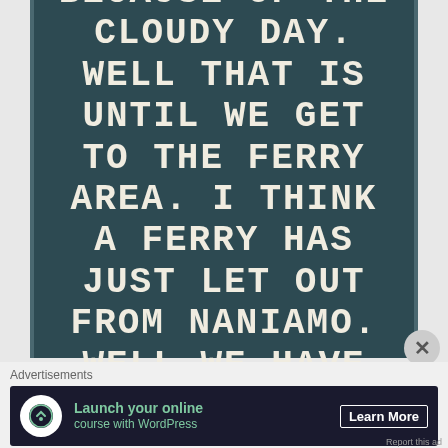HOME. TRAFFIC IS STILL GREAT. MUST BE BECAUSE OF THE CLOUDY DAY. WELL THAT IS UNTIL WE GET TO THE FERRY AREA. I THINK A FERRY HAS JUST LET OUT FROM NANIAMO. WELL WE HAVE TRAFFIC NOW. SLOW DOWN SPEED UP
[Figure (illustration): Close/dismiss button (X icon) on right side]
Advertisements
[Figure (screenshot): Advertisement banner: Launch your online course with WordPress - Learn More button, dark background with green text and WordPress logo icon]